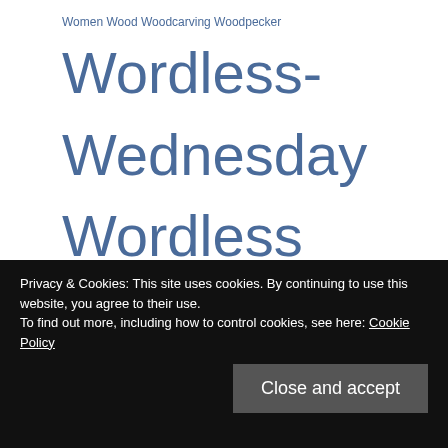Women Wood Woodcarving Woodpecker Wordless-Wednesday Wordless Wednesday wordplay WPC Writing Writing Challenge WWE Wyoming x-ray Yellow Yellowstone National Park Zion National Park Zoo
META
Log in
Entries feed
Privacy & Cookies: This site uses cookies. By continuing to use this website, you agree to their use. To find out more, including how to control cookies, see here: Cookie Policy
Close and accept